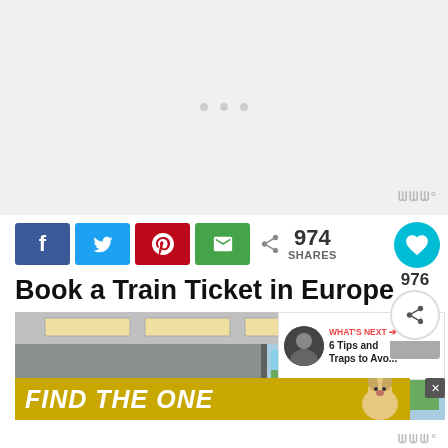[Figure (screenshot): Advertisement placeholder area, light gray background with small icon dots at top center and a watermark bottom right]
[Figure (infographic): Social share bar with Facebook (blue), Twitter (blue), Pinterest (red), Email (green) buttons, share count 974 SHARES, heart/save button (teal circle), floating share count 976 and share icon button]
Book a Train Ticket in Europe
[Figure (photo): Interior of a modern train carriage with ceiling light panels, large windows showing greenery outside; overlaid with 'WHAT'S NEXT' link to '6 Tips and Traps to Avo...' and bottom ad banner reading 'FIND THE ONE' with a dog image]
[Figure (screenshot): Bottom right watermark logo area]